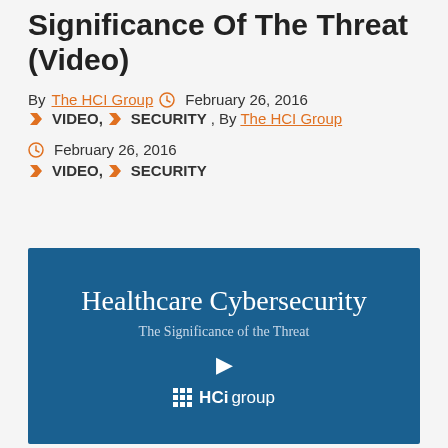Significance Of The Threat (Video)
By The HCI Group   February 26, 2016
VIDEO, SECURITY , By The HCI Group
February 26, 2016
VIDEO, SECURITY
[Figure (screenshot): Video thumbnail with dark blue background showing 'Healthcare Cybersecurity - The Significance of the Threat' with a play button and HCi group logo]